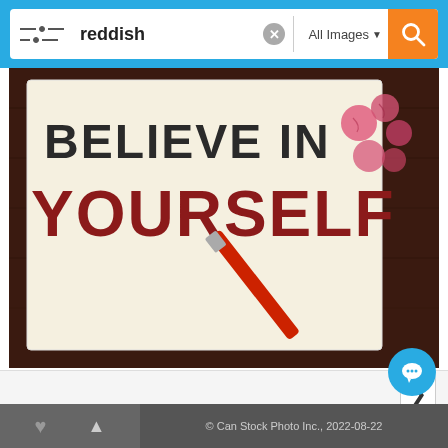[Figure (screenshot): Search bar with 'reddish' query, 'All Images' dropdown, and orange search button on blue background]
[Figure (photo): Photo showing a note card with 'BELIEVE IN YOURSELF' written in red block letters, a red pen, and crumpled pink paper balls on a dark wooden surface]
[Figure (screenshot): Navigation strip with right-arrow pagination button]
More Information
License Agreement
About Can Stock Photo
Privacy
Sell Your Images / Clips
Terms & Conditions
Contact Us
© Can Stock Photo Inc., 2022-08-22